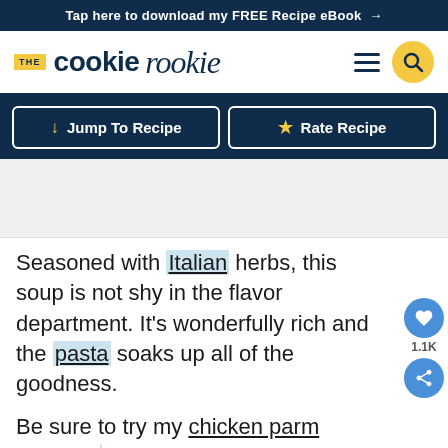Tap here to download my FREE Recipe eBook →
[Figure (logo): The Cookie Rookie logo with THE badge, hamburger menu icon, and search icon on yellow circle]
↓ Jump To Recipe  ★ Rate Recipe
[Figure (photo): Image placeholder area (recipe food photo)]
Seasoned with Italian herbs, this soup is not shy in the flavor department. It's wonderfully rich and the pasta soaks up all of the goodness.

Be sure to try my chicken parm and tortilla soup recipes too!